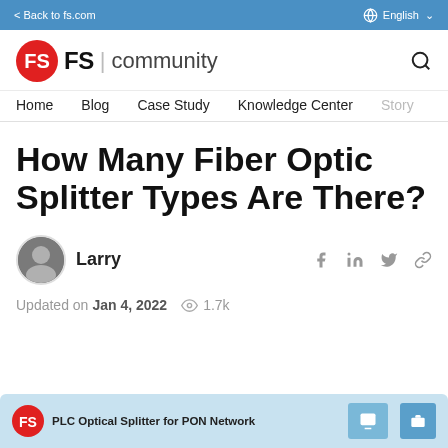< Back to fs.com | English
[Figure (logo): FS Community logo with red circular FS icon and text 'FS | community']
Home  Blog  Case Study  Knowledge Center  Story
How Many Fiber Optic Splitter Types Are There?
Larry — author avatar with social share icons (Facebook, LinkedIn, Twitter, Link)
Updated on Jan 4, 2022   1.7k views
[Figure (screenshot): Preview card showing FS logo and text 'PLC Optical Splitter for PON Network' with product images on a blue background]